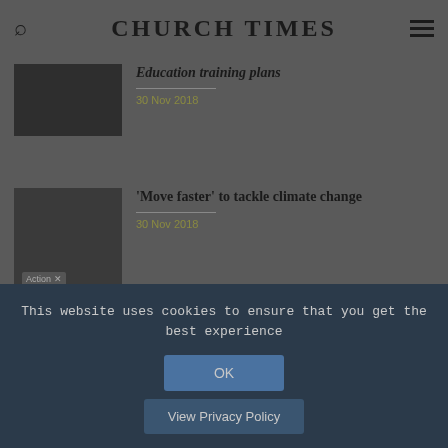CHURCH TIMES
[Figure (photo): Dark photo of a person, partially visible]
Education training plans
30 Nov 2018
[Figure (photo): Protest photo with 'Action' sign visible]
'Move faster' to tackle climate change
30 Nov 2018
[Figure (photo): Partial photo of a person]
'It's a good life with Down's syndrome'
This website uses cookies to ensure that you get the best experience
OK
View Privacy Policy